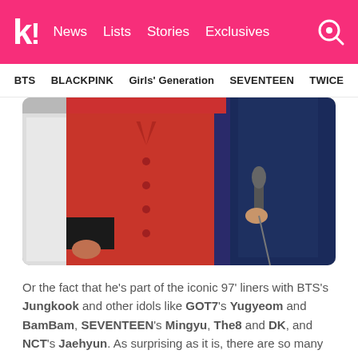k! News Lists Stories Exclusives
BTS BLACKPINK Girls' Generation SEVENTEEN TWICE
[Figure (photo): People at a formal event. One person visible in a red coat, another in a dark navy dress holding a microphone. White outfit partially visible on left.]
Or the fact that he's part of the iconic 97' liners with BTS's Jungkook and other idols like GOT7's Yugyeom and BamBam, SEVENTEEN's Mingyu, The8 and DK, and NCT's Jaehyun. As surprising as it is, there are so many Cha Eunwoo x BTS crumbs around!